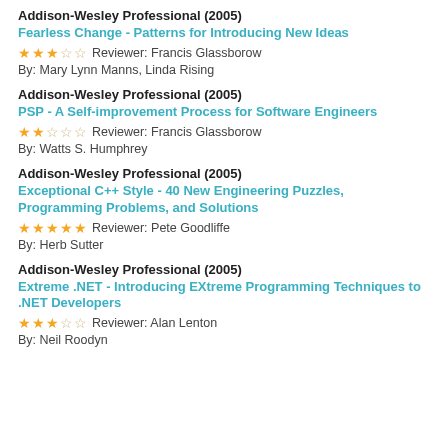Addison-Wesley Professional (2005)
Fearless Change - Patterns for Introducing New Ideas
★★★☆☆ Reviewer: Francis Glassborow
By: Mary Lynn Manns, Linda Rising
Addison-Wesley Professional (2005)
PSP - A Self-improvement Process for Software Engineers
★★☆☆☆ Reviewer: Francis Glassborow
By: Watts S. Humphrey
Addison-Wesley Professional (2005)
Exceptional C++ Style - 40 New Engineering Puzzles, Programming Problems, and Solutions
★★★★★ Reviewer: Pete Goodliffe
By: Herb Sutter
Addison-Wesley Professional (2005)
Extreme .NET - Introducing EXtreme Programming Techniques to .NET Developers
★★★☆☆ Reviewer: Alan Lenton
By: Neil Roodyn